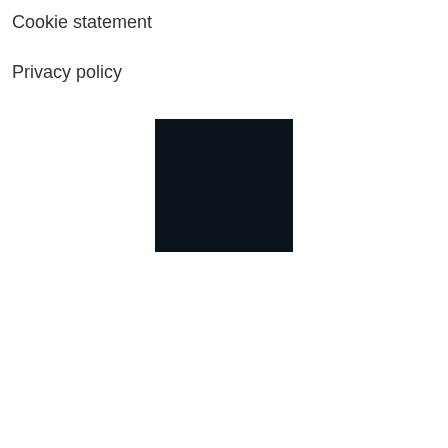Cookie statement
Privacy policy
[Figure (other): Dark navy/black rectangular block, approximately centered horizontally on the page]